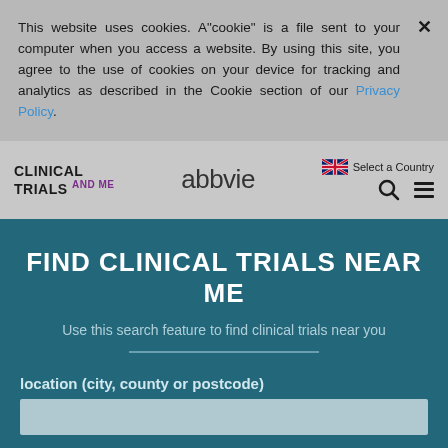This website uses cookies. A"cookie" is a file sent to your computer when you access a website. By using this site, you agree to the use of cookies on your device for tracking and analytics as described in the Cookie section of our Privacy Policy.
[Figure (screenshot): Navigation bar with Clinical Trials and Me logo, AbbVie logo, UK flag country selector, search icon, and hamburger menu]
FIND CLINICAL TRIALS NEAR ME
Use this search feature to find clinical trials near you
location (city, county or postcode)